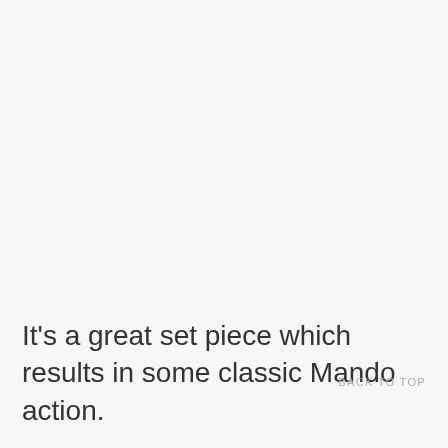It's a great set piece which results in some classic Mando action.
BACK TO TOP